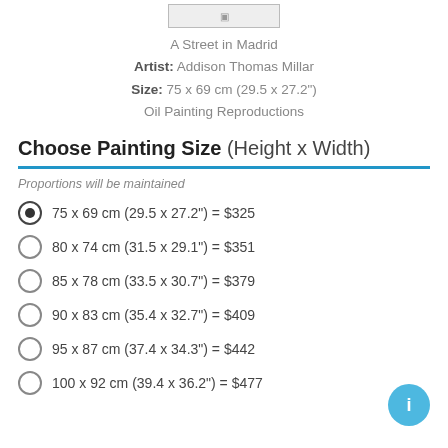[Figure (other): Small thumbnail image placeholder at top]
A Street in Madrid
Artist: Addison Thomas Millar
Size: 75 x 69 cm (29.5 x 27.2")
Oil Painting Reproductions
Choose Painting Size (Height x Width)
Proportions will be maintained
75 x 69 cm (29.5 x 27.2") = $325
80 x 74 cm (31.5 x 29.1") = $351
85 x 78 cm (33.5 x 30.7") = $379
90 x 83 cm (35.4 x 32.7") = $409
95 x 87 cm (37.4 x 34.3") = $442
100 x 92 cm (39.4 x 36.2") = $477